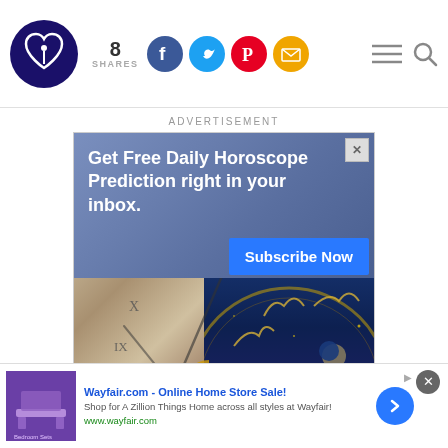Logo with 8 SHARES and social icons (Facebook, Twitter, Pinterest, Email), hamburger menu and search
ADVERTISEMENT
[Figure (screenshot): Horoscope subscription advertisement: 'Get Free Daily Horoscope Prediction right in your inbox. Subscribe Now' with background image of ornate zodiac clock]
[Figure (screenshot): Wayfair.com banner ad: 'Wayfair.com - Online Home Store Sale! Shop for A Zillion Things Home across all styles at Wayfair! www.wayfair.com' with bedroom furniture thumbnail]